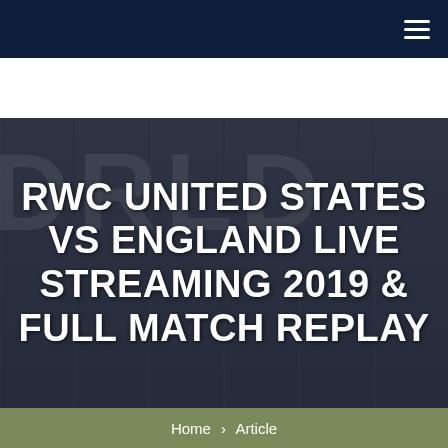Navigation bar with hamburger menu
[Figure (photo): Dark background image with large faded letters 'DRLD' visible in the background, resembling a rugby world cup stadium or venue setting]
RWC UNITED STATES VS ENGLAND LIVE STREAMING 2019 & FULL MATCH REPLAY
Home > Article